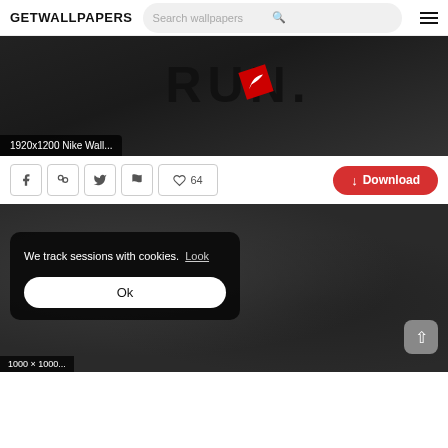GETWALLPAPERS | Search wallpapers
[Figure (screenshot): Nike 1920x1200 wallpaper showing 'RUN.' text with Nike logo on dark background]
1920x1200 Nike Wall...
Social share buttons: Facebook, Pinterest, Twitter, Flag, Heart 64 | Download button
[Figure (screenshot): Dark textured wallpaper with cookie consent overlay saying 'We track sessions with cookies. Look' and an Ok button. Back-to-top arrow button in bottom right.]